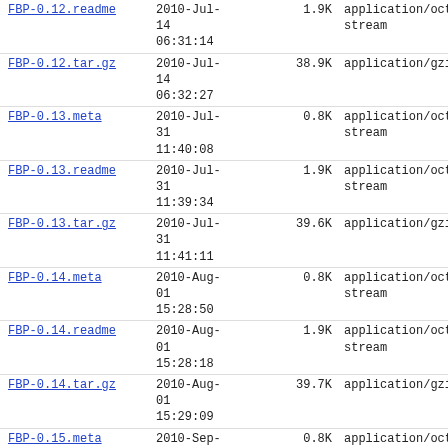| Name | Date | Size | Type |
| --- | --- | --- | --- |
| FBP-0.12.readme | 2010-Jul-14 06:31:14 | 1.9K | application/octet-stream |
| FBP-0.12.tar.gz | 2010-Jul-14 06:32:27 | 38.9K | application/gzip |
| FBP-0.13.meta | 2010-Jul-31 11:40:08 | 0.8K | application/octet-stream |
| FBP-0.13.readme | 2010-Jul-31 11:39:34 | 1.9K | application/octet-stream |
| FBP-0.13.tar.gz | 2010-Jul-31 11:41:11 | 39.6K | application/gzip |
| FBP-0.14.meta | 2010-Aug-01 15:28:50 | 0.8K | application/octet-stream |
| FBP-0.14.readme | 2010-Aug-01 15:28:18 | 1.9K | application/octet-stream |
| FBP-0.14.tar.gz | 2010-Aug-01 15:29:09 | 39.7K | application/gzip |
| FBP-0.15.meta | 2010-Sep-29 07:39:45 | 0.8K | application/octet-stream |
| FBP-0.15.readme | 2010-Sep-29 07:39:07 | 1.9K | application/octet-stream |
| FBP-0.15.tar.gz | 2010-Sep-29 | 40.2K | application/gzip |